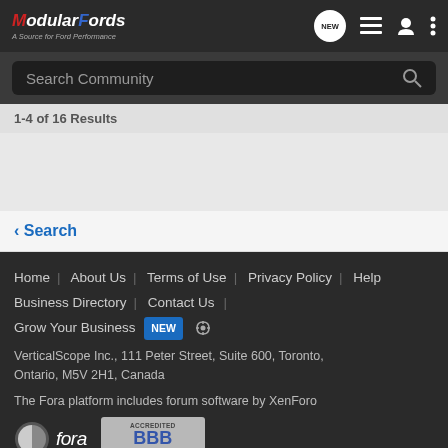ModularFords — A Source for Ford Performance
Search Community
1-4 of 16 Results
< Search
Home | About Us | Terms of Use | Privacy Policy | Help | Business Directory | Contact Us | Grow Your Business NEW | VerticalScope Inc., 111 Peter Street, Suite 600, Toronto, Ontario, M5V 2H1, Canada | The Fora platform includes forum software by XenForo